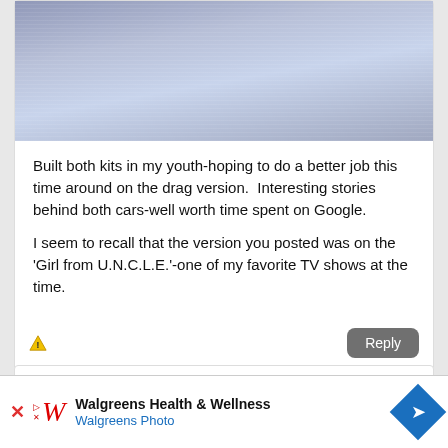[Figure (photo): Partial photo of a model kit box with blue/silver striped appearance, top portion visible]
Built both kits in my youth-hoping to do a better job this time around on the drag version.  Interesting stories behind both cars-well worth time spent on Google.
I seem to recall that the version you posted was on the 'Girl from U.N.C.L.E.'-one of my favorite TV shows at the time.
Posted by cbaltrin on Sunday, March 27, 2022 1:30 PM
[Figure (screenshot): Walgreens Health & Wellness advertisement banner with logo, Walgreens Photo subtitle, and blue diamond arrow icon]